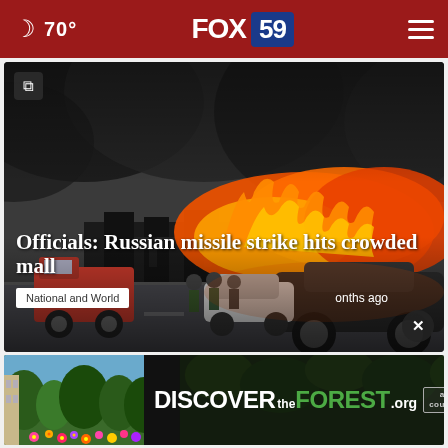70° FOX 59
[Figure (photo): Breaking news photo of a large building engulfed in fire and black smoke with firefighters and vehicles in the foreground]
Officials: Russian missile strike hits crowded mall
National and World
onths ago
[Figure (photo): Advertisement banner for DISCOVERtheFOREST.org with colorful flowers and forest imagery, ad council and USDA Forest Service logos]